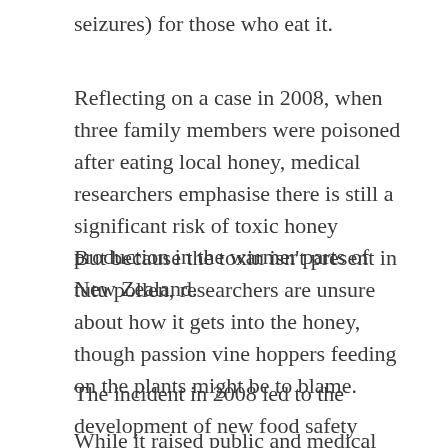seizures) for those who eat it.
Reflecting on a case in 2008, when three family members were poisoned after eating local honey, medical researchers emphasise there is still a significant risk of toxic honey production in the warmer parts of New Zealand.
But because the toxin isn't present in tutu pollen, researchers are unsure about how it gets into the honey, though passion vine hoppers feeding on the plants might be to blame.
The incident in 2008 led to the development of new food safety standards for New Zealand honey in 2016.
While it raised public and medical awareness of honey